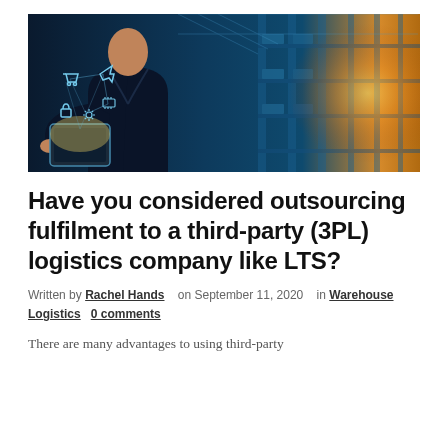[Figure (photo): A person in a dark suit holding a tablet with holographic logistics/supply chain icons (shopping cart, plane, lock, gear, server) glowing above it, set against a blurred warehouse background with sunlight.]
Have you considered outsourcing fulfilment to a third-party (3PL) logistics company like LTS?
Written by Rachel Hands   on September 11, 2020   in Warehouse Logistics   0 comments
There are many advantages to using third-party